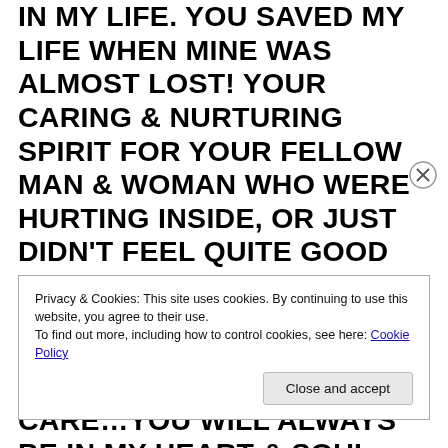IN MY LIFE. YOU SAVED MY LIFE WHEN MINE WAS ALMOST LOST! YOUR CARING & NURTURING SPIRIT FOR YOUR FELLOW MAN & WOMAN WHO WERE HURTING INSIDE, OR JUST DIDN'T FEEL QUITE GOOD ENOUGH IS UNMATCHED! MAY THE ANGELS HOLD YOUR TENDER SWEET HEART IN THEIR LOVING CARE…YOU WILL ALWAYS BE IN MY HEART & SOUL UNTIL WE MEET AGAIN MY BELOVED BROTHER. I LOVE YOU WITH ALL MY HEART & SOUL & I FEEL YOUR
Privacy & Cookies: This site uses cookies. By continuing to use this website, you agree to their use.
To find out more, including how to control cookies, see here: Cookie Policy
Close and accept